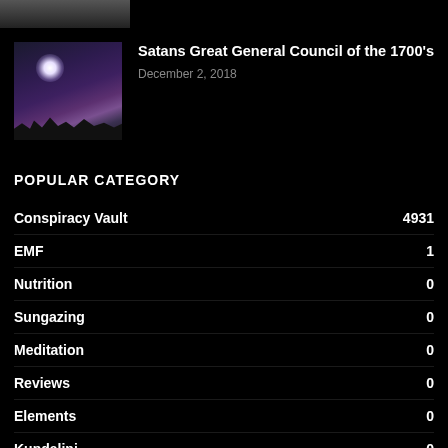[Figure (photo): Partial dark image strip at top]
[Figure (photo): Night sky with moon glow and tree silhouettes thumbnail]
Satans Great General Council of the 1700’s
December 2, 2018
POPULAR CATEGORY
Conspiracy Vault 4931
EMF 1
Nutrition 0
Sungazing 0
Meditation 0
Reviews 0
Elements 0
Kundalini 0
Energy 0